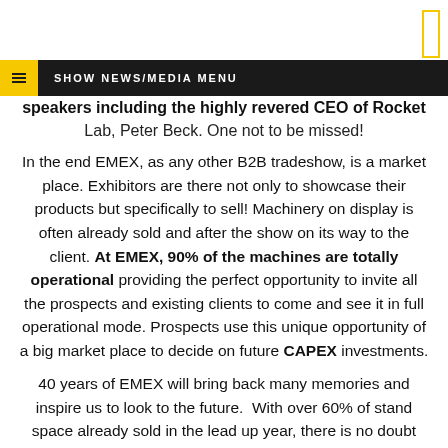SHOW NEWS/MEDIA MENU
speakers including the highly revered CEO of Rocket Lab, Peter Beck. One not to be missed!
In the end EMEX, as any other B2B tradeshow, is a market place. Exhibitors are there not only to showcase their products but specifically to sell! Machinery on display is often already sold and after the show on its way to the client. At EMEX, 90% of the machines are totally operational providing the perfect opportunity to invite all the prospects and existing clients to come and see it in full operational mode. Prospects use this unique opportunity of a big market place to decide on future CAPEX investments.
40 years of EMEX will bring back many memories and inspire us to look to the future. With over 60% of stand space already sold in the lead up year, there is no doubt